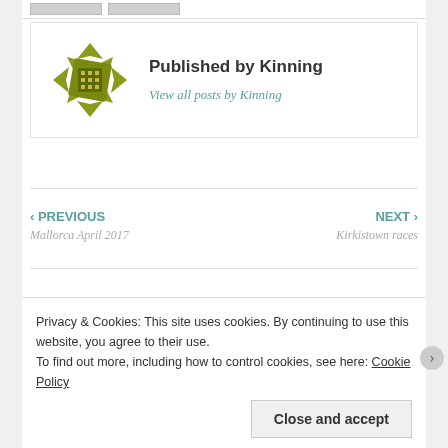[Figure (logo): Kinning blog logo - geometric quilt-like pattern in olive/yellow-green colors]
Published by Kinning
View all posts by Kinning
‹ PREVIOUS
Mallorca April 2017
NEXT ›
Kirkistown races
Leave a Reply
Privacy & Cookies: This site uses cookies. By continuing to use this website, you agree to their use.
To find out more, including how to control cookies, see here: Cookie Policy
Close and accept